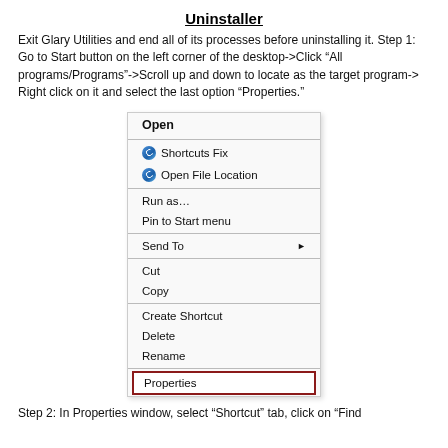Uninstaller
Exit Glary Utilities and end all of its processes before uninstalling it. Step 1: Go to Start button on the left corner of the desktop->Click “All programs/Programs”->Scroll up and down to locate as the target program-> Right click on it and select the last option “Properties.”
[Figure (screenshot): Windows right-click context menu showing options: Open (bold), Shortcuts Fix, Open File Location, Run as…, Pin to Start menu, Send To (with arrow), Cut, Copy, Create Shortcut, Delete, Rename, Properties (highlighted with red border)]
Step 2: In Properties window, select “Shortcut” tab, click on “Find